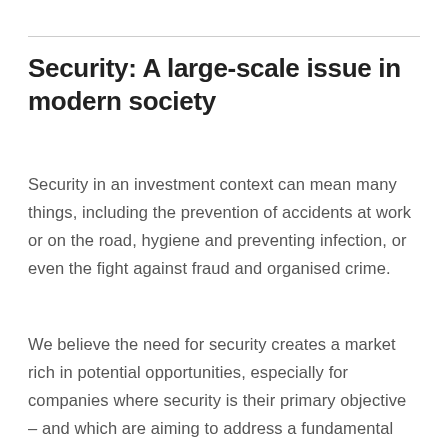Security: A large-scale issue in modern society
Security in an investment context can mean many things, including the prevention of accidents at work or on the road, hygiene and preventing infection, or even the fight against fraud and organised crime.
We believe the need for security creates a market rich in potential opportunities, especially for companies where security is their primary objective – and which are aiming to address a fundamental